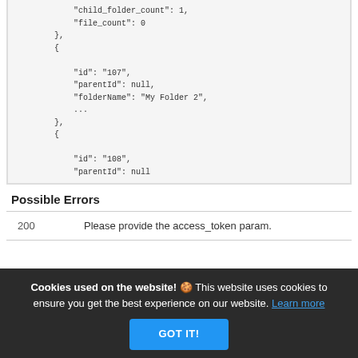"child_folder_count": 1,
"file_count": 0
},
{
"id": "107",
"parentId": null,
"folderName": "My Folder 2",
...
},
{
"id": "108",
"parentId": null
Possible Errors
|  |  |
| --- | --- |
| 200 | Please provide the access_token param. |
Cookies used on the website! 🍪 This website uses cookies to ensure you get the best experience on our website. Learn more
GOT IT!